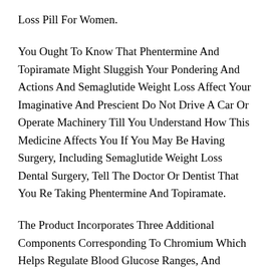Loss Pill For Women.
You Ought To Know That Phentermine And Topiramate Might Sluggish Your Pondering And Actions And Semaglutide Weight Loss Affect Your Imaginative And Prescient Do Not Drive A Car Or Operate Machinery Till You Understand How This Medicine Affects You If You May Be Having Surgery, Including Semaglutide Weight Loss Dental Surgery, Tell The Doctor Or Dentist That You Re Taking Phentermine And Topiramate.
The Product Incorporates Three Additional Components Corresponding To Chromium Which Helps Regulate Blood Glucose Ranges, And Calcium, And Potassium, Which Helps In The Absorption What To Eat Before Workout To Lose Weight Of Garcinia Cambogia When Taken In Between Meals, Before A Workout, Or In The